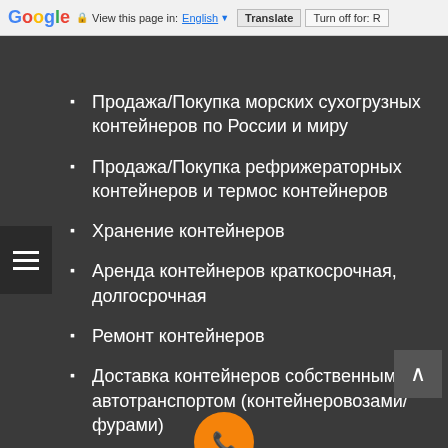Google | View this page in: English [▼] | Translate | Turn off for: R
Продажа/Покупка морских сухогрузных контейнеров по России и миру
Продажа/Покупка рефрижераторных контейнеров и термос контейнеров
Хранение контейнеров
Аренда контейнеров краткосрочная, долгосрочная
Ремонт контейнеров
Доставка контейнеров собственным автотранспортом (контейнеровозами/фурами)
[Figure (other): Orange circular button at the bottom of the page]